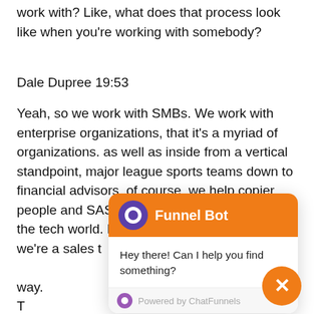work with? Like, what does that process look like when you're working with somebody?
Dale Dupree 19:53
Yeah, so we work with SMBs. We work with enterprise organizations, that it's a myriad of organizations. as well as inside from a vertical standpoint, major league sports teams down to financial advisors, of course, we help copier people and SAS. In tech in general, we love the tech world. But what it looks like is that we're a sales t[...] way. T[...] ss inside [...] bring t[...] someone you know was something else that th[...] hey and they've used it to fix a problem they're having, and they bring us something specific, we need help
[Figure (screenshot): Chat popup widget with orange header showing 'Funnel Bot' title with purple circle icon, white body with text 'Hey there! Can I help you find something?', and a 'Powered by ChatFunnels' footer. An orange circular close button with X is in the bottom right.]